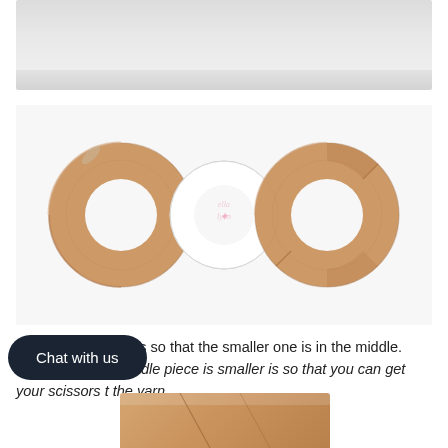[Figure (photo): Top portion of a photo, showing a light grey/white surface, partially cropped at the top of the page.]
[Figure (photo): Three cardboard donut/ring shapes laid flat on a white surface. The left and right rings are larger and made of tan/brown corrugated cardboard. The middle ring is smaller and appears to be white/paper with a pink handwritten watermark logo on it.]
4. Layer your pieces so that the smaller one is in the middle. The reason the middle piece is smaller is so that you can get your scissors t the yarn.
[Figure (photo): Bottom portion of a photo showing a tan/beige cardboard tube or roll of yarn, partially cropped.]